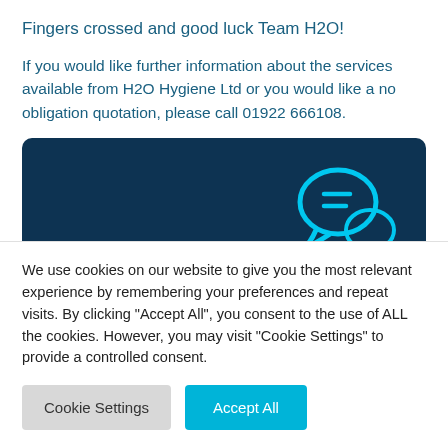Fingers crossed and good luck Team H2O!
If you would like further information about the services available from H2O Hygiene Ltd or you would like a no obligation quotation, please call 01922 666108.
[Figure (illustration): Dark blue rounded banner with a cyan speech bubble icon on the right and an 'Ask Us a Question' link at the bottom left.]
We use cookies on our website to give you the most relevant experience by remembering your preferences and repeat visits. By clicking "Accept All", you consent to the use of ALL the cookies. However, you may visit "Cookie Settings" to provide a controlled consent.